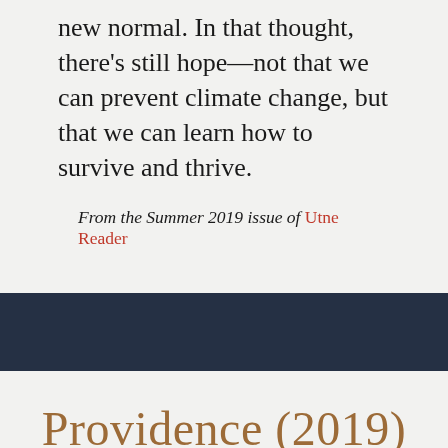new normal. In that thought, there's still hope—not that we can prevent climate change, but that we can learn how to survive and thrive.
From the Summer 2019 issue of Utne Reader
Providence (2019)
MARCH 5, 2019 · LEAVE A COMMENT